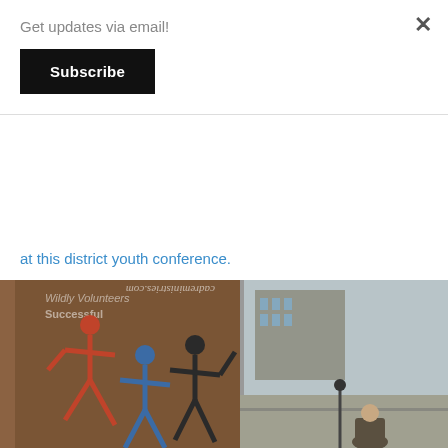Get updates via email!
Subscribe
at this district youth conference.
[Figure (photo): Photo showing a Cadre Ministries banner with stick figure logos in red and blue, and a person at a desk in front of a large window overlooking a city street with buildings visible outside.]